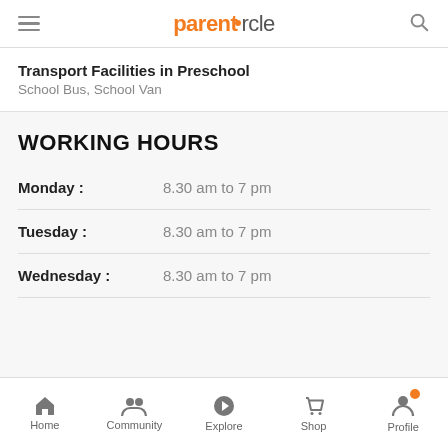parentcircle
Transport Facilities in Preschool
School Bus, School Van
WORKING HOURS
Monday : 8.30 am to 7 pm
Tuesday : 8.30 am to 7 pm
Wednesday : 8.30 am to 7 pm
Home  Community  Explore  Shop  Profile